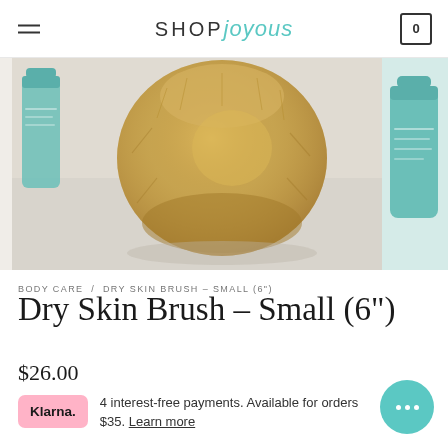SHOP joyous
[Figure (photo): Close-up photo of a dry skin brush with golden/tan bristles on a marble surface, with teal/turquoise product bottles visible in the background. A partial second image showing a teal product bottle is visible on the right edge.]
BODY CARE / DRY SKIN BRUSH - SMALL (6")
Dry Skin Brush - Small (6")
$26.00
Klarna. 4 interest-free payments. Available for orders $35. Learn more